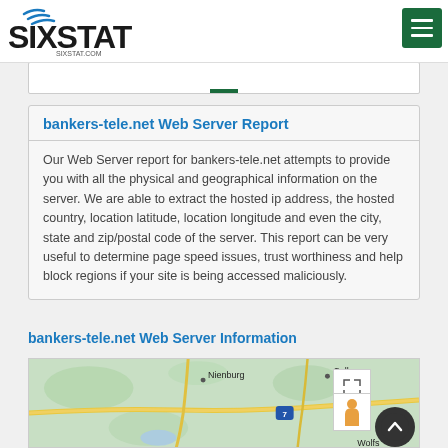SIXSTAT.COM
bankers-tele.net Web Server Report
Our Web Server report for bankers-tele.net attempts to provide you with all the physical and geographical information on the server. We are able to extract the hosted ip address, the hosted country, location latitude, location longitude and even the city, state and zip/postal code of the server. This report can be very useful to determine page speed issues, trust worthiness and help block regions if your site is being accessed maliciously.
bankers-tele.net Web Server Information
[Figure (map): Map showing geographic area around Nienburg and Celle in Germany, with road network and terrain visible. Shows partial view of a web map interface with expand button, street view person icon, and scroll-to-top button.]